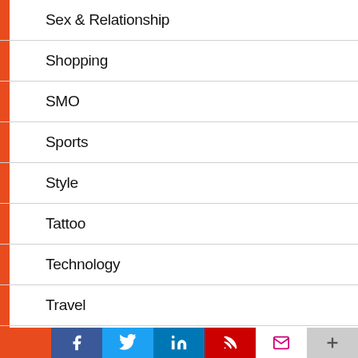Sex & Relationship
Shopping
SMO
Sports
Style
Tattoo
Technology
Travel
UK
United States